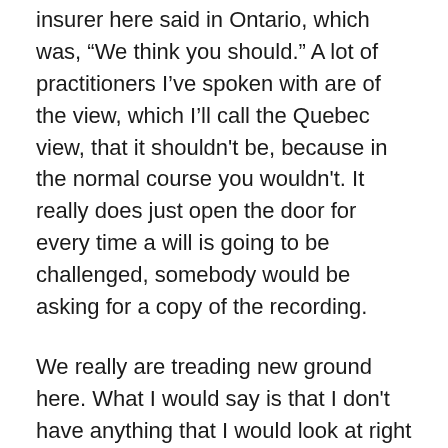insurer here said in Ontario, which was, “We think you should.” A lot of practitioners I’ve spoken with are of the view, which I’ll call the Quebec view, that it shouldn't be, because in the normal course you wouldn't. It really does just open the door for every time a will is going to be challenged, somebody would be asking for a copy of the recording.
We really are treading new ground here. What I would say is that I don't have anything that I would look at right now as an amendment, but I certainly think that the committee and the AG’s office should be monitoring this and monitoring the case law that comes out of it, and in two or three years really having a look at the legislation again to see how it needs to be changed. Unfortunately, we’re learning while doing.
Certainly, in the course of the pandemic, I would say 90% of my will signings are witnessed remotely, and it’s been very helpful. But in the course of that, there is an area that...